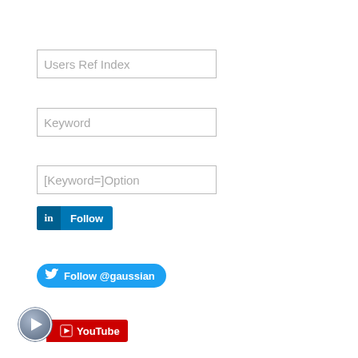[Figure (screenshot): Input field placeholder text: Users Ref Index]
[Figure (screenshot): Input field placeholder text: Keyword]
[Figure (screenshot): Input field placeholder text: [Keyword=]Option]
[Figure (screenshot): LinkedIn Follow button]
[Figure (screenshot): Twitter Follow @gaussian button]
[Figure (screenshot): YouTube subscribe button with upload icon]